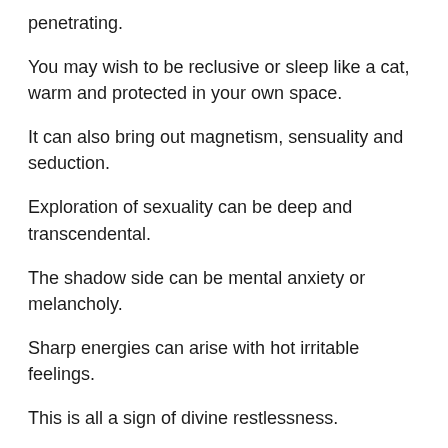penetrating.
You may wish to be reclusive or sleep like a cat, warm and protected in your own space.
It can also bring out magnetism, sensuality and seduction.
Exploration of sexuality can be deep and transcendental.
The shadow side can be mental anxiety or melancholy.
Sharp energies can arise with hot irritable feelings.
This is all a sign of divine restlessness.
Difficulty in controlling diet may occur.
Mahatma Gandhi with his natal moon in Ashlesha spent most of his life trying to purify and restrain his eating